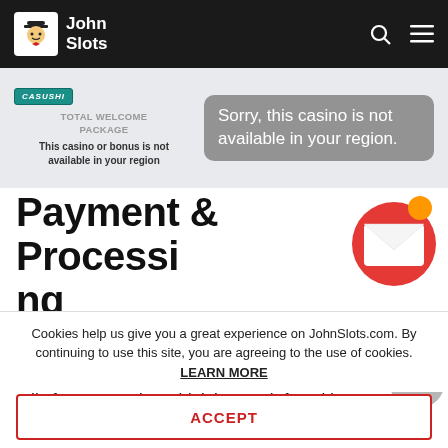John Slots
[Figure (screenshot): Casino banner showing Casushi logo, 'TOTAL WELCOME PACKAGE' label, 'This casino or bonus is not available in your region' message, and a grey tooltip bubble saying 'Sorry, this casino is not available in your region.']
Payment & Processing Time
Luckily, you don't have to exchange actual money into raw fish to play at Casushi. Getting California rolls for a reward wouldn't be much fun either.
Cookies help us give you a great experience on JohnSlots.com. By continuing to use this site, you are agreeing to the use of cookies. LEARN MORE
ACCEPT